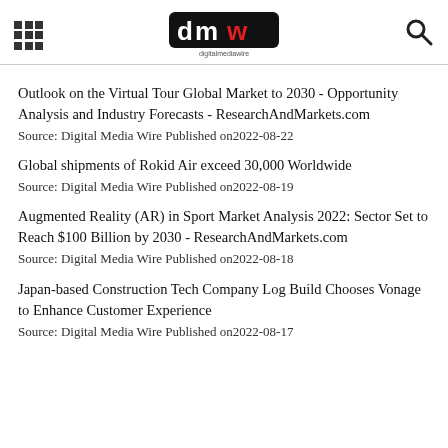digitalmediawire
Outlook on the Virtual Tour Global Market to 2030 - Opportunity Analysis and Industry Forecasts - ResearchAndMarkets.com
Source: Digital Media Wire Published on2022-08-22
Global shipments of Rokid Air exceed 30,000 Worldwide
Source: Digital Media Wire Published on2022-08-19
Augmented Reality (AR) in Sport Market Analysis 2022: Sector Set to Reach $100 Billion by 2030 - ResearchAndMarkets.com
Source: Digital Media Wire Published on2022-08-18
Japan-based Construction Tech Company Log Build Chooses Vonage to Enhance Customer Experience
Source: Digital Media Wire Published on2022-08-17